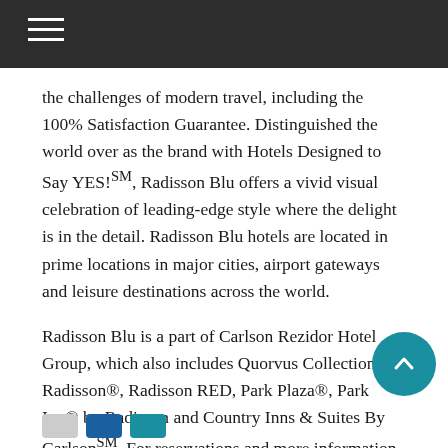the challenges of modern travel, including the 100% Satisfaction Guarantee. Distinguished the world over as the brand with Hotels Designed to Say YES!SM, Radisson Blu offers a vivid visual celebration of leading-edge style where the delight is in the detail. Radisson Blu hotels are located in prime locations in major cities, airport gateways and leisure destinations across the world.
Radisson Blu is a part of Carlson Rezidor Hotel Group, which also includes Quorvus Collection, Radisson®, Radisson RED, Park Plaza®, Park Inn® by Radisson and Country Inns & Suites By CarlsonSM. For reservations and more information visit, www.radissonblu.com. Connect with Radisson Blu on social media: @RadissonBlu on Twitter and Instagram and Facebook.com/RadissonBlu.